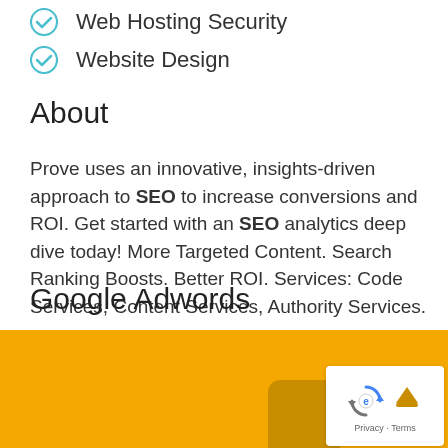Web Hosting Security
Website Design
About
Prove uses an innovative, insights-driven approach to SEO to increase conversions and ROI. Get started with an SEO analytics deep dive today! More Targeted Content. Search Ranking Boosts. Better ROI. Services: Code Services, Content Services, Authority Services.
Google Adwords
[Figure (other): reCAPTCHA badge with privacy and terms links, overlaying a gold background section]